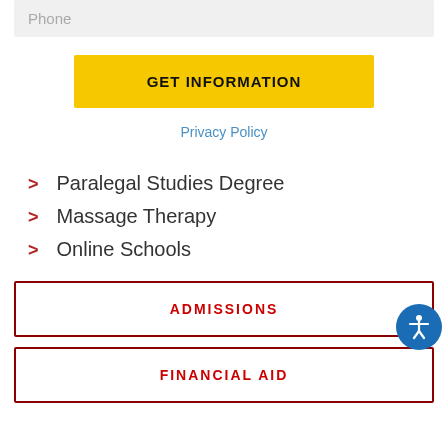Phone
GET INFORMATION
Privacy Policy
Paralegal Studies Degree
Massage Therapy
Online Schools
ADMISSIONS
FINANCIAL AID